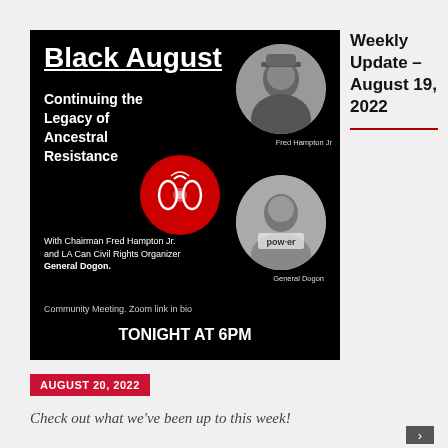[Figure (illustration): Black August event flyer on black background. Title 'Black August' underlined in white bold text. Subtitle 'Continuing the Legacy of Ancestral Resistance'. Features circular photos of Fred Hampton Jr and General Dogon, a red circle logo with stylized design. Text: 'With Chairman Fred Hampton Jr. and LA Can Civil Rights Organizer General Dogon.' Community Meeting. Zoom link in bio. TONIGHT AT 6PM.]
Weekly Update – August 19, 2022
AUGUST 20, 2022
Check out what we've been up to this week!